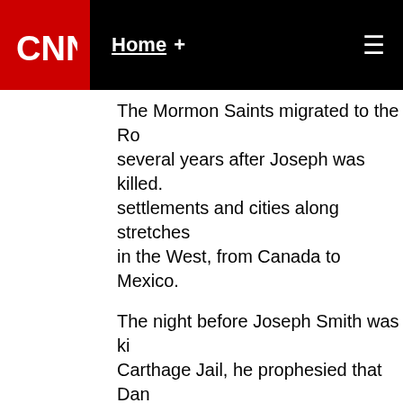CNN | Home +
The Mormon Saints migrated to the Ro... several years after Joseph was killed. settlements and cities along stretches in the West, from Canada to Mexico.
The night before Joseph Smith was ki... Carthage Jail, he prophesied that Dan... clearly at risk, would survive to serve came to pass.
Heck! Maybe I'll get in the game too... The Stunning Prophecies of Doctor Hu...
1) Suri Cruise will be named the 2nd c... From that point on, all photos of the cl... display dozens of ficti.tious military de... 2) Kim Kardashian will adopt a 3rd wo... it when it becomes too large to tote a... 3) Iran will breed a race of giant insec... The Ayatollah will claim that they a...